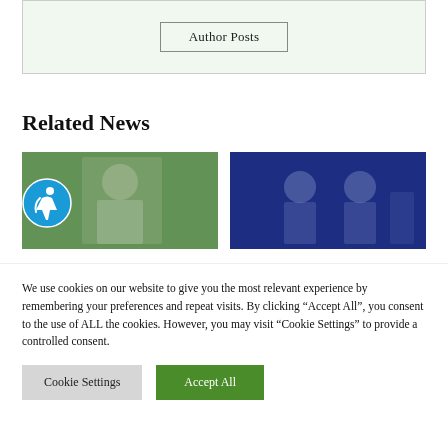Author Posts
Related News
[Figure (photo): Football coach on sideline wearing white shirt and headset, green turf in background]
[Figure (photo): Two football players in blue-tinted photo, stadium background]
We use cookies on our website to give you the most relevant experience by remembering your preferences and repeat visits. By clicking "Accept All", you consent to the use of ALL the cookies. However, you may visit "Cookie Settings" to provide a controlled consent.
Cookie Settings
Accept All